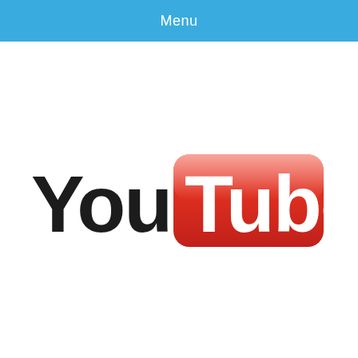Menu
[Figure (logo): YouTube logo with 'You' in dark/black bold text and 'Tube' in white bold text inside a red rounded rectangle with glossy highlight]